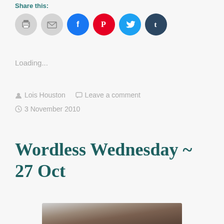Share this:
[Figure (infographic): Share buttons row: print (grey circle), email (grey circle), Facebook (blue circle), Pinterest (red circle), Twitter (cyan circle), Tumblr (dark navy circle)]
Loading...
Lois Houston   Leave a comment
3 November 2010
Wordless Wednesday ~ 27 Oct
[Figure (photo): Partial photo visible at bottom of page, showing what appears to be a house or building exterior with some greenery]